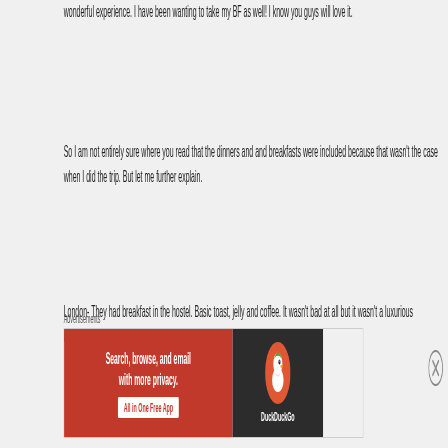wonderful experience. I have been wanting to take my BF as well! I know you guys will love it.
So I am not entirely sure where you read that the dinners and and breakfasts were included because that wasn't the case when I did the trip. But let me further explain.
London- They had breakfast in the hostel. Basic toast, jelly and coffee. It wasn't bad at all but it wasn't a luxurious breakfast lol But because you have to leave to leave to you
Advertisements
[Figure (screenshot): DuckDuckGo advertisement banner: orange left section with text 'Search, browse, and email with more privacy. All in One Free App', dark right section with DuckDuckGo duck logo and brand name.]